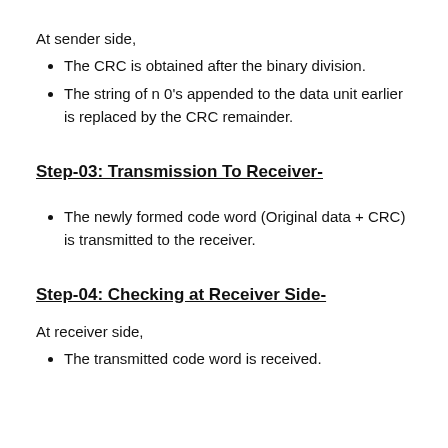At sender side,
The CRC is obtained after the binary division.
The string of n 0's appended to the data unit earlier is replaced by the CRC remainder.
Step-03: Transmission To Receiver-
The newly formed code word (Original data + CRC) is transmitted to the receiver.
Step-04: Checking at Receiver Side-
At receiver side,
The transmitted code word is received.